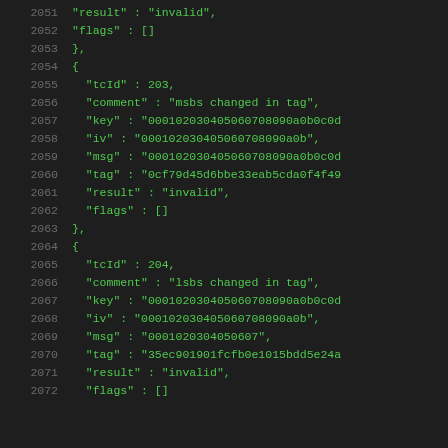2051    "result" : "invalid",
2052    "flags" : []
2053        },
2054        {
2055            "tcId" : 203,
2056            "comment" : "msbs changed in tag",
2057            "key" : "000102030405060708090a0b0c0d
2058            "iv" : "000102030405060708090a0b",
2059            "msg" : "000102030405060708090a0b0c0d
2060            "tag" : "0cf79d45d6bbe33eab5cda0f4f49
2061            "result" : "invalid",
2062            "flags" : []
2063        },
2064        {
2065            "tcId" : 204,
2066            "comment" : "lsbs changed in tag",
2067            "key" : "000102030405060708090a0b0c0d
2068            "iv" : "000102030405060708090a0b",
2069            "msg" : "0001020304050607",
2070            "tag" : "35ec901901fcfb0e1015bdd5e24a
2071            "result" : "invalid",
2072            "flags" : []